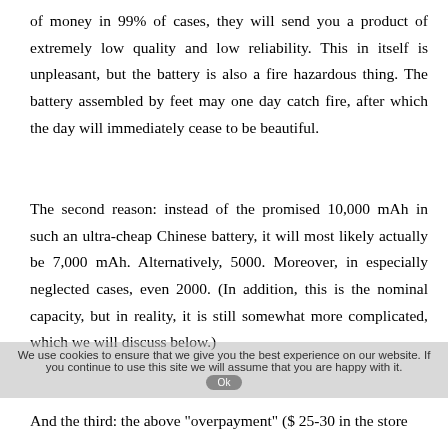of money in 99% of cases, they will send you a product of extremely low quality and low reliability. This in itself is unpleasant, but the battery is also a fire hazardous thing. The battery assembled by feet may one day catch fire, after which the day will immediately cease to be beautiful.
The second reason: instead of the promised 10,000 mAh in such an ultra-cheap Chinese battery, it will most likely actually be 7,000 mAh. Alternatively, 5000. Moreover, in especially neglected cases, even 2000. (In addition, this is the nominal capacity, but in reality, it is still somewhat more complicated, which we will discuss below.)
And the third: the above "overpayment" ($ 25-30 in the store